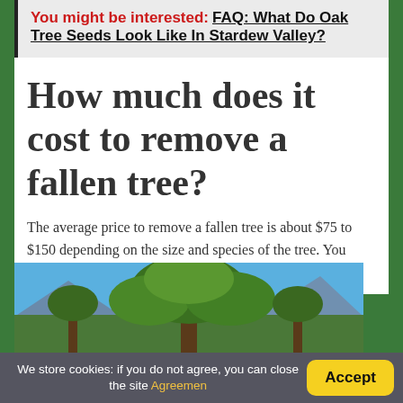You might be interested: FAQ: What Do Oak Tree Seeds Look Like In Stardew Valley?
How much does it cost to remove a fallen tree?
The average price to remove a fallen tree is about $75 to $150 depending on the size and species of the tree. You might pay additional costs to have the pieces hauled away.
[Figure (photo): Photo of a large tree with green foliage against a blue sky with mountains in the background]
We store cookies: if you do not agree, you can close the site Agreemen